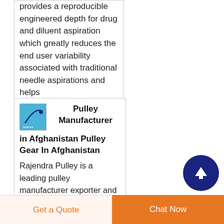provides a reproducible engineered depth for drug and diluent aspiration which greatly reduces the end user variability associated with traditional needle aspirations and helps
[Figure (logo): Small square logo with light blue background and a circular arc/needle graphic with text]
Pulley Manufacturer in Afghanistan Pulley Gear In Afghanistan
Rajendra Pulley is a leading pulley manufacturer exporter and supplier in Afghanistan offering all kinds of pulley for
[Figure (other): Dark navy blue circular scroll-to-top button with a white upward arrow]
Get a Quote
Chat Now